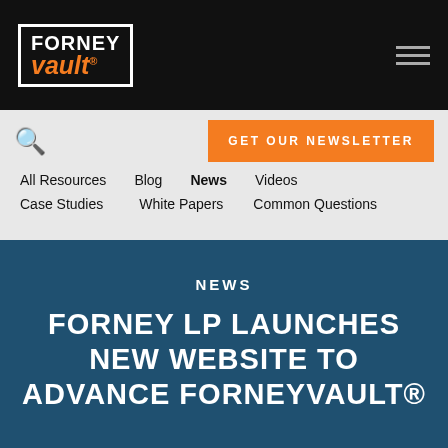Forney Vault logo and navigation header
[Figure (logo): Forney Vault logo — white border box, FORNEY in white bold, vault in orange bold italic with registered trademark symbol]
GET OUR NEWSLETTER
All Resources
Blog
News
Videos
Case Studies
White Papers
Common Questions
NEWS
FORNEY LP LAUNCHES NEW WEBSITE TO ADVANCE FORNEYVAULT®